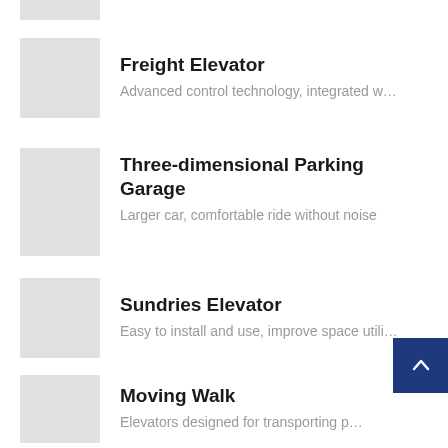[Figure (illustration): Partially visible grey thumbnail image at top of page]
Freight Elevator
Advanced control technology, integrated w…
Three-dimensional Parking Garage
Larger car, comfortable ride without noise
Sundries Elevator
Easy to install and use, improve space utili…
Moving Walk
Elevators designed for transporting p…
Escalator